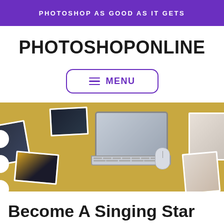PHOTOSHOP AS GOOD AS IT GETS
PHOTOSHOPONLINE
≡ MENU
[Figure (photo): Overhead view of a laptop and mouse on a golden/yellow desk surrounded by scattered photographs and prints]
Become A Singing Star Without Even Leaving